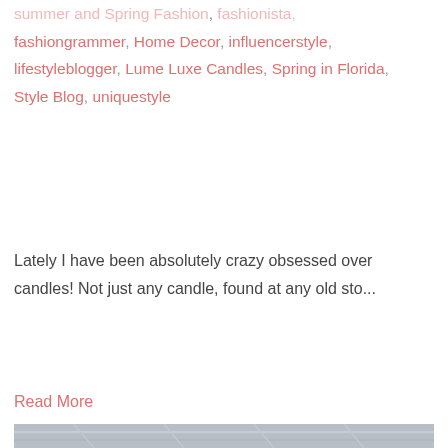summer and Spring Fashion, fashionista, fashiongrammer, Home Decor, influencerstyle, lifestyleblogger, Lume Luxe Candles, Spring in Florida, Style Blog, uniquestyle
Lately I have been absolutely crazy obsessed over candles! Not just any candle, found at any old sto...
Read More
[Figure (photo): Photo of a dark teal/navy blue leather mini backpack with gold hardware including a keychain, placed on a light grey fluffy blanket. The backpack has an infinity symbol logo with text on a gold square patch.]